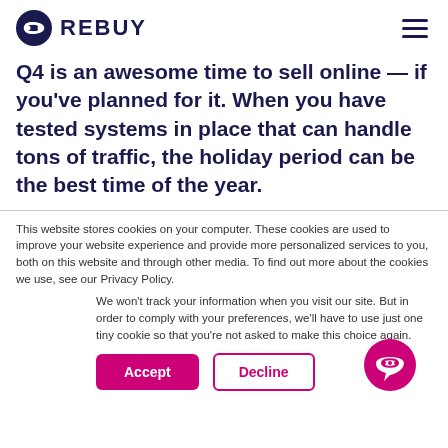REBUY
Q4 is an awesome time to sell online — if you've planned for it. When you have tested systems in place that can handle tons of traffic, the holiday period can be the best time of the year.
This website stores cookies on your computer. These cookies are used to improve your website experience and provide more personalized services to you, both on this website and through other media. To find out more about the cookies we use, see our Privacy Policy.
We won't track your information when you visit our site. But in order to comply with your preferences, we'll have to use just one tiny cookie so that you're not asked to make this choice again.
Accept  Decline